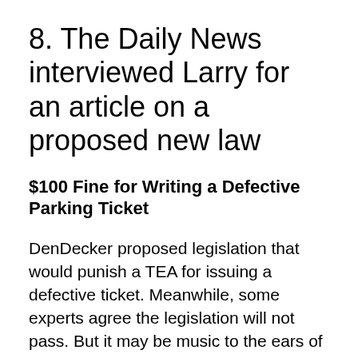8. The Daily News interviewed Larry for an article on a proposed new law
$100 Fine for Writing a Defective Parking Ticket
DenDecker proposed legislation that would punish a TEA for issuing a defective ticket. Meanwhile, some experts agree the legislation will not pass. But it may be music to the ears of motorists.
“As much as we might agree with its sentiments, we think the timing for it is not